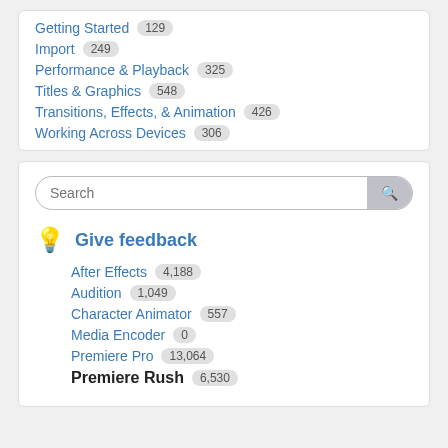Getting Started 129
Import 249
Performance & Playback 325
Titles & Graphics 548
Transitions, Effects, & Animation 426
Working Across Devices 306
Search
Give feedback
After Effects 4,188
Audition 1,049
Character Animator 557
Media Encoder 0
Premiere Pro 13,064
Premiere Rush 6,530